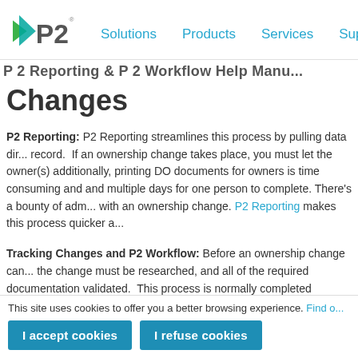P2 Solutions | Solutions  Products  Services  Support
P2 Reporting & P2 Workflow Help Manual
Changes
P2 Reporting: P2 Reporting streamlines this process by pulling data directly from the record. If an ownership change takes place, you must let the owner(s) know; additionally, printing DO documents for owners is time consuming and multiple days for one person to complete. There's a bounty of administrative tasks with an ownership change. P2 Reporting makes this process quicker and...
Tracking Changes and P2 Workflow: Before an ownership change can occur, the change must be researched, and all of the required documentation validated. This process is normally completed manually with hard copy folders or desks. P2 has a solution that tracks requests for changes and...
This site uses cookies to offer you a better browsing experience. Find out...
I accept cookies   I refuse cookies